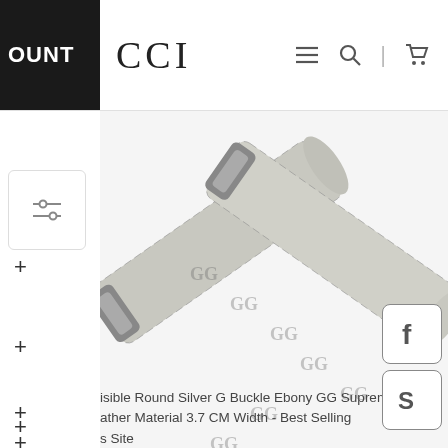OUNT  CCI — navigation bar with menu, search, and cart icons
[Figure (photo): Two Gucci belts crossed over each other, showing GG Supreme monogram canvas pattern in beige/gray with a round silver G buckle]
isible Round Silver G Buckle Ebony GG Supreme
ather Material 3.7 CM Width - Best Selling
s Site
ucci belt is made of two different materials, the c
issic GG Supreme printed canvas, and the inner layer